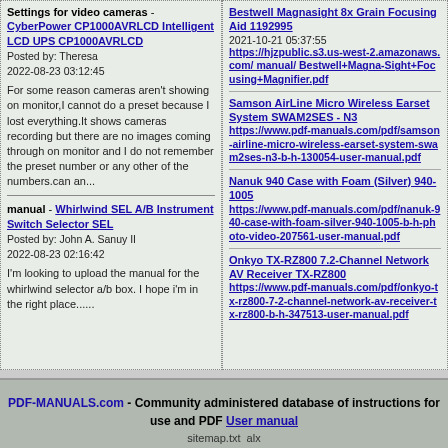Settings for video cameras - CyberPower CP1000AVRLCD Intelligent LCD UPS CP1000AVRLCD
Posted by: Theresa
2022-08-23 03:12:45

For some reason cameras aren't showing on monitor,I cannot do a preset because I lost everything.It shows cameras recording but there are no images coming through on monitor and I do not remember the preset number or any other of the numbers.can an...
manual - Whirlwind SEL A/B Instrument Switch Selector SEL
Posted by: John A. Sanuy II
2022-08-23 02:16:42

I'm looking to upload the manual for the whirlwind selector a/b box. I hope i'm in the right place......
Bestwell Magnasight 8x Grain Focusing Aid 1192995
2021-10-21 05:37:55
https://hjzpublic.s3.us-west-2.amazonaws.com/ manual/ Bestwell+Magna-Sight+Focusing+Magnifier.pdf
Samson AirLine Micro Wireless Earset System SWAM2SES - N3
https://www.pdf-manuals.com/pdf/samson-airline-micro-wireless-earset-system-swam2ses-n3-b-h-130054-user-manual.pdf
Nanuk 940 Case with Foam (Silver) 940-1005
https://www.pdf-manuals.com/pdf/nanuk-940-case-with-foam-silver-940-1005-b-h-photo-video-207561-user-manual.pdf
Onkyo TX-RZ800 7.2-Channel Network AV Receiver TX-RZ800
https://www.pdf-manuals.com/pdf/onkyo-tx-rz800-7.2-channel-network-av-receiver-tx-rz800-b-h-347513-user-manual.pdf
PDF-MANUALS.com - Community administered database of instructions for use and PDF User manual
sitemap.txt alx